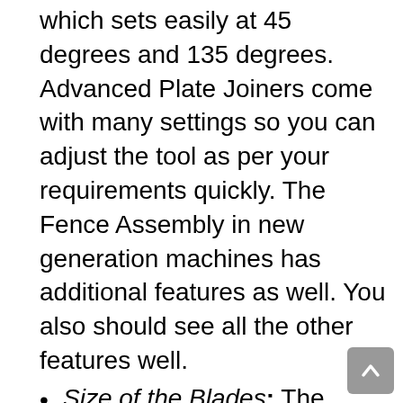which sets easily at 45 degrees and 135 degrees. Advanced Plate Joiners come with many settings so you can adjust the tool as per your requirements quickly. The Fence Assembly in new generation machines has additional features as well. You also should see all the other features well.
Size of the Blades: The Standard size of the Blades on the Plate Joiners is 4 Inches. Most offer 4-Inch Blades. With a 4-Inch blade, you can cut the standard slots on the surfaces. The Blade comes with an adjustable button which lets you adjust the blade size and slot size as per your requirements.
Power Source: There are two types of